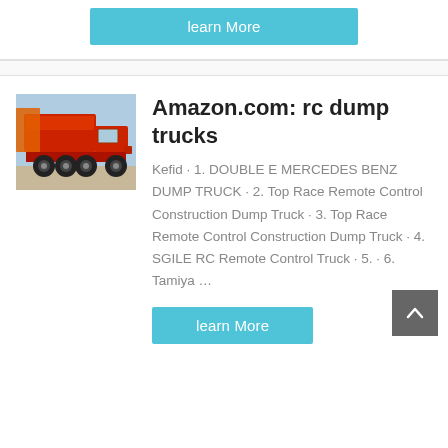learn More
[Figure (photo): Red dump truck / construction vehicle parked outdoors]
Amazon.com: rc dump trucks
Kefid · 1. DOUBLE E MERCEDES BENZ DUMP TRUCK · 2. Top Race Remote Control Construction Dump Truck · 3. Top Race Remote Control Construction Dump Truck · 4. SGILE RC Remote Control Truck · 5. · 6. Tamiya …
learn More